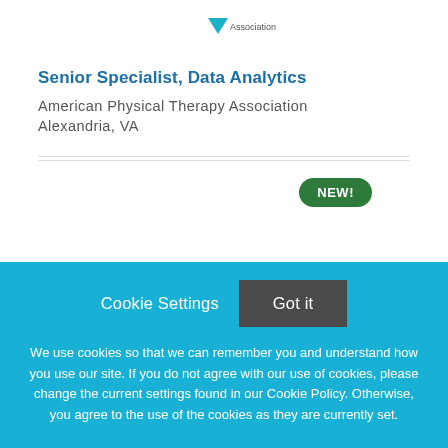[Figure (logo): American Physical Therapy Association logo — teal triangle/arrow pointing down with text 'Association' visible]
Senior Specialist, Data Analytics
American Physical Therapy Association
Alexandria, VA
NEW!
Cookie Settings  Got it
We use cookies so that we can remember you and understand how you use our site. If you do not agree with our use of cookies, please change the current settings found in our Cookie Policy. Otherwise, you agree to the use of the cookies as they are currently set.